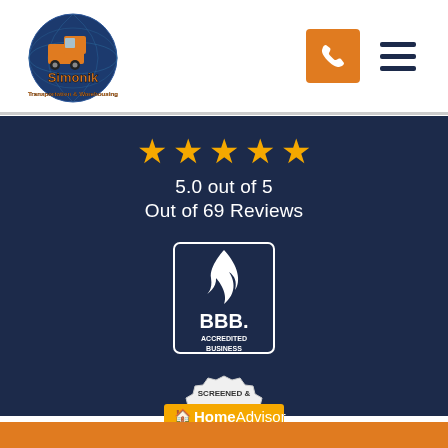[Figure (logo): Simonik Transportation & Warehousing logo — globe with orange truck and text]
[Figure (logo): Orange phone button icon and hamburger menu icon]
5.0 out of 5
Out of 69 Reviews
[Figure (logo): BBB Accredited Business badge — white flame logo on dark navy background with text BBB ACCREDITED BUSINESS]
[Figure (logo): HomeAdvisor Screened & Approved badge]